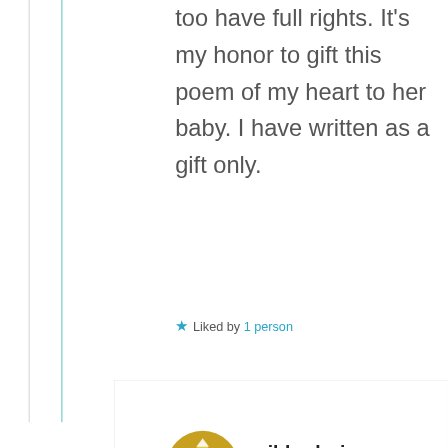too have full rights. It's my honor to gift this poem of my heart to her baby. I have written as a gift only.
★ Liked by 1 person
[Figure (illustration): Golden circular badge/avatar icon for user mildredprincewelch]
mildredprincewelch
Privacy & Cookies: This site uses cookies. By continuing to use this website, you agree to their use. To find out more, including how to control cookies, see here: Cookie Policy
Close and accept
this position until I